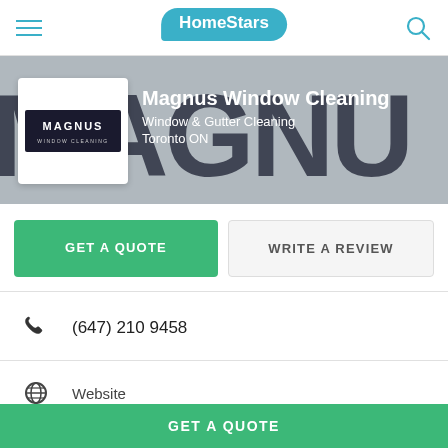HomeStars
[Figure (logo): Magnus Window Cleaning company logo on banner with large background text MAGNU]
Magnus Window Cleaning
Window & Gutter Cleaning
Toronto ON
GET A QUOTE
WRITE A REVIEW
(647) 210 9458
Website
GET A QUOTE